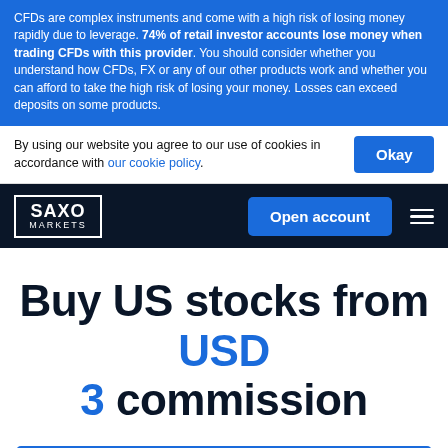CFDs are complex instruments and come with a high risk of losing money rapidly due to leverage. 74% of retail investor accounts lose money when trading CFDs with this provider. You should consider whether you understand how CFDs, FX or any of our other products work and whether you can afford to take the high risk of losing your money. Losses can exceed deposits on some products.
By using our website you agree to our use of cookies in accordance with our cookie policy.
[Figure (logo): Saxo Markets logo — white text on dark navy background]
Buy US stocks from USD 3 commission
See all fees and trading conditions